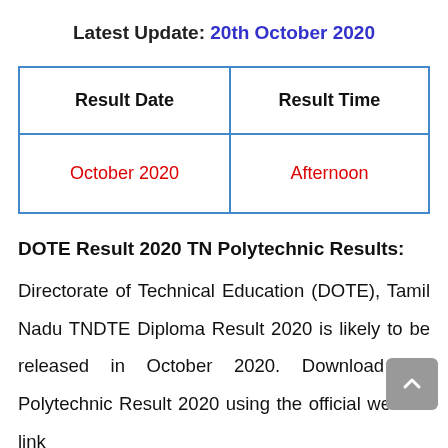Latest Update: 20th October 2020
| Result Date | Result Time |
| --- | --- |
| October 2020 | Afternoon |
DOTE Result 2020 TN Polytechnic Results:
Directorate of Technical Education (DOTE), Tamil Nadu TNDTE Diploma Result 2020 is likely to be released in October 2020. Download TN Polytechnic Result 2020 using the official website link